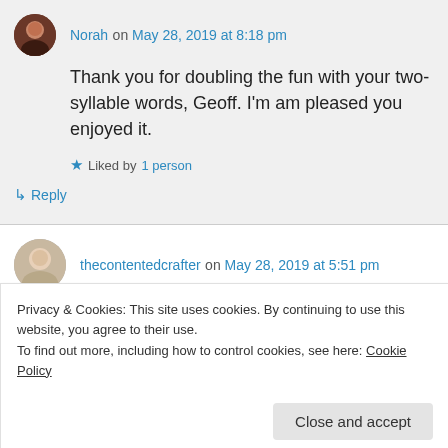Norah on May 28, 2019 at 8:18 pm
Thank you for doubling the fun with your two-syllable words, Geoff. I'm am pleased you enjoyed it.
Liked by 1 person
↳ Reply
thecontentedcrafter on May 28, 2019 at 5:51 pm
Privacy & Cookies: This site uses cookies. By continuing to use this website, you agree to their use.
To find out more, including how to control cookies, see here: Cookie Policy
Close and accept
spends time there who has made me very aware